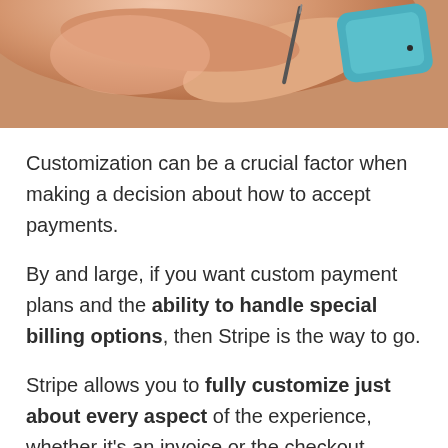[Figure (photo): Close-up photo of a person's hand and face, with a teal/blue object visible, suggesting a payment or craft activity]
Customization can be a crucial factor when making a decision about how to accept payments.
By and large, if you want custom payment plans and the ability to handle special billing options, then Stripe is the way to go.
Stripe allows you to fully customize just about every aspect of the experience, whether it's an invoice or the checkout process.